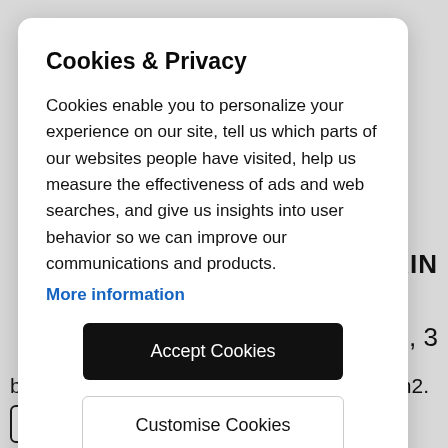Cookies & Privacy
Cookies enable you to personalize your experience on our site, tell us which parts of our websites people have visited, help us measure the effectiveness of ads and web searches, and give us insights into user behavior so we can improve our communications and products.
More information
Accept Cookies
Customise Cookies
MOUNTAIN
0m2, 3
bedrooms, 2 bathrooms, on a plot of 700 m2.
Read more »